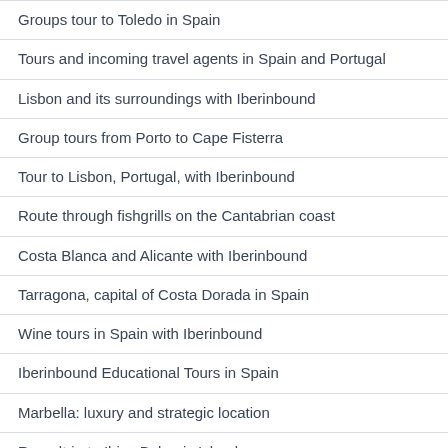Groups tour to Toledo in Spain
Tours and incoming travel agents in Spain and Portugal
Lisbon and its surroundings with Iberinbound
Group tours from Porto to Cape Fisterra
Tour to Lisbon, Portugal, with Iberinbound
Route through fishgrills on the Cantabrian coast
Costa Blanca and Alicante with Iberinbound
Tarragona, capital of Costa Dorada in Spain
Wine tours in Spain with Iberinbound
Iberinbound Educational Tours in Spain
Marbella: luxury and strategic location
Roundtrip to Ibiza Balearic Islands